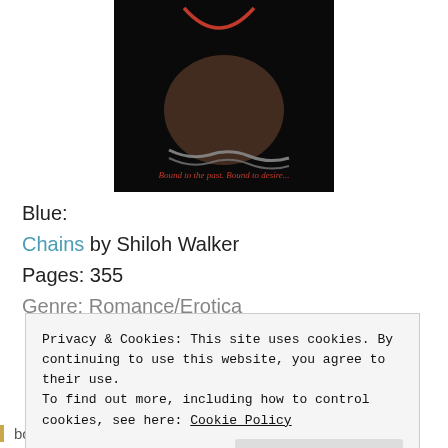[Figure (photo): Book cover image of 'Chains' by Shiloh Walker — dark background with a person's legs bound by chains and the tagline 'Bound to the past. Bound to desire...' in red script text. A red curved element is visible at the top.]
Blue:
Chains by Shiloh Walker
Pages: 355
Genre: Romance/Erotica
Privacy & Cookies: This site uses cookies. By continuing to use this website, you agree to their use.
To find out more, including how to control cookies, see here: Cookie Policy
Close and accept
boyfriend and the perfect life. Lacey was the golden